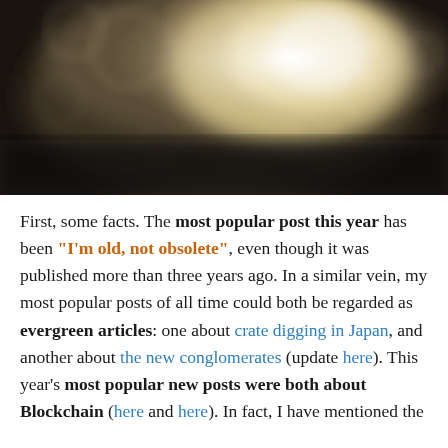[Figure (photo): Blurred bokeh background photo with dark edges and bright circular light spots in center-right area, warm tones]
First, some facts. The most popular post this year has been "I'm old, not obsolete", even though it was published more than three years ago. In a similar vein, my most popular posts of all time could both be regarded as evergreen articles: one about crate digging in Japan, and another about the new conglomerates (update here). This year's most popular new posts were both about Blockchain (here and here). In fact, I have mentioned the